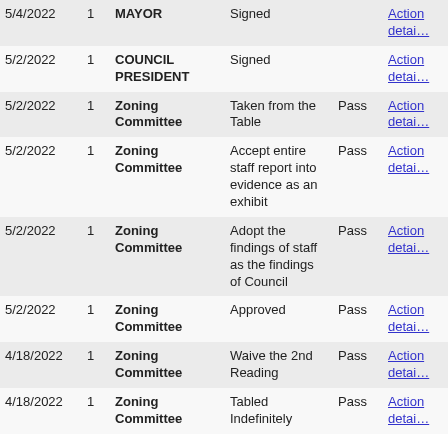| Date | # | Body | Action | Result |  |
| --- | --- | --- | --- | --- | --- |
| 5/4/2022 | 1 | MAYOR | Signed |  | Action detai… |
| 5/2/2022 | 1 | COUNCIL PRESIDENT | Signed |  | Action detai… |
| 5/2/2022 | 1 | Zoning Committee | Taken from the Table | Pass | Action detai… |
| 5/2/2022 | 1 | Zoning Committee | Accept entire staff report into evidence as an exhibit | Pass | Action detai… |
| 5/2/2022 | 1 | Zoning Committee | Adopt the findings of staff as the findings of Council | Pass | Action detai… |
| 5/2/2022 | 1 | Zoning Committee | Approved | Pass | Action detai… |
| 4/18/2022 | 1 | Zoning Committee | Waive the 2nd Reading | Pass | Action detai… |
| 4/18/2022 | 1 | Zoning Committee | Tabled Indefinitely | Pass | Action detai… |